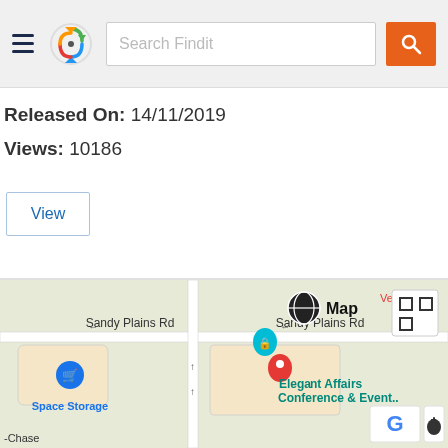[Figure (screenshot): App header bar with hamburger menu, Findit logo (circle with colored arrows), search box with placeholder 'Search Findit', and orange search button]
Released On: 14/11/2019
Views: 10186
View
[Figure (map): Google Maps screenshot showing Sandy Plains Rd and W Oak Pkwy intersection, with markers for Space Storage, Elegant Affairs Conference & Event., and a red pin. Globe/Map icon visible. Google and Apple logos in bottom right.]